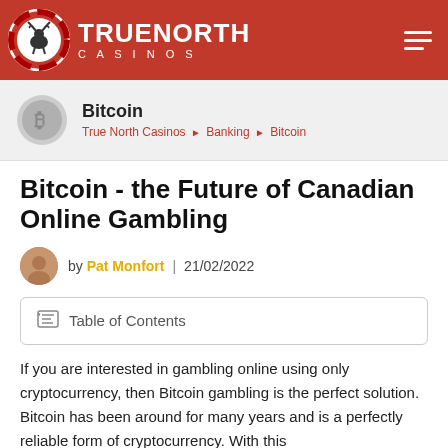TRUE NORTH CASINOS
Bitcoin
True North Casinos ▶ Banking ▶ Bitcoin
Bitcoin - the Future of Canadian Online Gambling
by Pat Monfort | 21/02/2022
Table of Contents
If you are interested in gambling online using only cryptocurrency, then Bitcoin gambling is the perfect solution.  Bitcoin has been around for many years and is a perfectly reliable form of cryptocurrency. With this